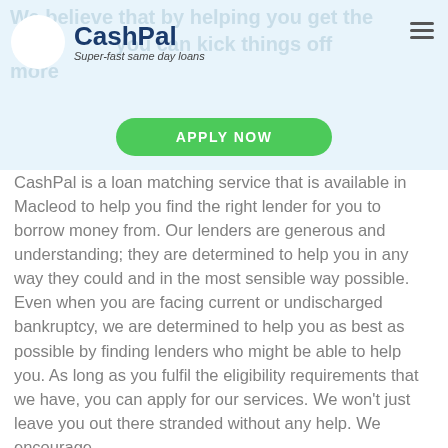[Figure (logo): CashPal logo with green circular CP icon and tagline 'Super-fast same day loans']
[Figure (other): Green 'APPLY NOW' button]
CashPal is a loan matching service that is available in Macleod to help you find the right lender for you to borrow money from. Our lenders are generous and understanding; they are determined to help you in any way they could and in the most sensible way possible. Even when you are facing current or undischarged bankruptcy, we are determined to help you as best as possible by finding lenders who might be able to help you. As long as you fulfil the eligibility requirements that we have, you can apply for our services. We won't just leave you out there stranded without any help. We encourage